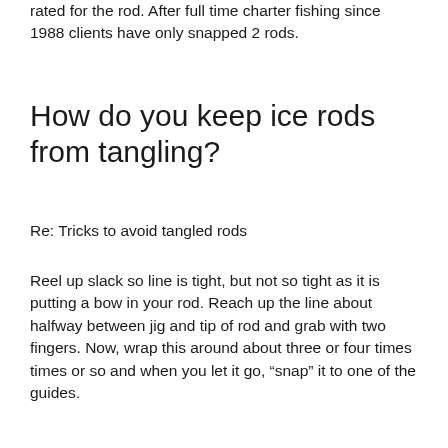rated for the rod. After full time charter fishing since 1988 clients have only snapped 2 rods.
How do you keep ice rods from tangling?
Re: Tricks to avoid tangled rods
Reel up slack so line is tight, but not so tight as it is putting a bow in your rod. Reach up the line about halfway between jig and tip of rod and grab with two fingers. Now, wrap this around about three or four times times or so and when you let it go, “snap” it to one of the guides.